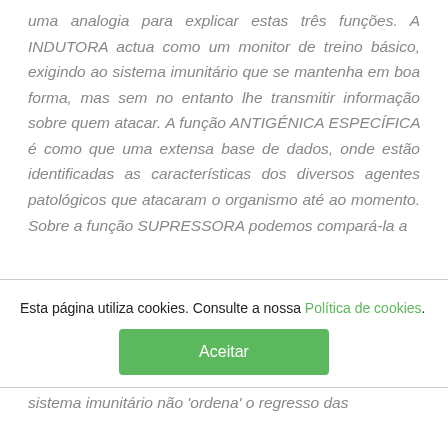uma analogia para explicar estas três funções. A INDUTORA actua como um monitor de treino básico, exigindo ao sistema imunitário que se mantenha em boa forma, mas sem no entanto lhe transmitir informação sobre quem atacar. A função ANTIGÉNICA ESPECÍFICA é como que uma extensa base de dados, onde estão identificadas as características dos diversos agentes patológicos que atacaram o organismo até ao momento. Sobre a função SUPRESSORA podemos compará-la a
Esta página utiliza cookies. Consulte a nossa Política de cookies.
Aceitar
sistema imunitário não 'ordena' o regresso das